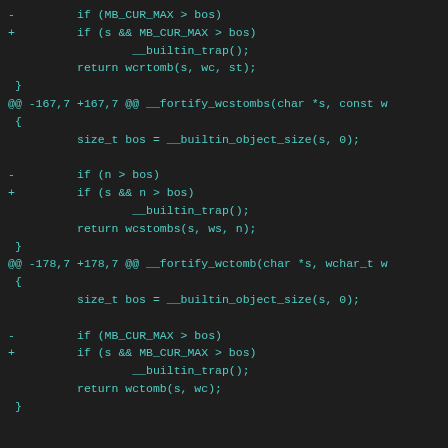[Figure (screenshot): A dark-themed code diff view showing C source code patches for __fortify_wcstombs and __fortify_wctomb functions. Lines with '-' show removed code and '+' show added code (both in teal/cyan color). The diff changes 'if (MB_CUR_MAX > bos)' to 'if (s && MB_CUR_MAX > bos)' and 'if (n > bos)' to 'if (s && n > bos)'.]